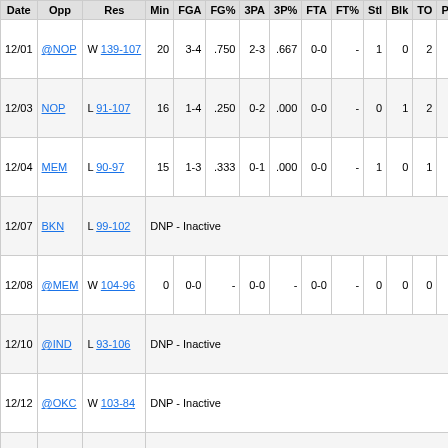| Date | Opp | Res | Min | FGA | FG% | 3PA | 3P% | FTA | FT% | Stl | Blk | TO | PF | Reb |
| --- | --- | --- | --- | --- | --- | --- | --- | --- | --- | --- | --- | --- | --- | --- |
| 12/01 | @NOP | W 139-107 | 20 | 3-4 | .750 | 2-3 | .667 | 0-0 | - | 1 | 0 | 2 | 1 | 5 |
| 12/03 | NOP | L 91-107 | 16 | 1-4 | .250 | 0-2 | .000 | 0-0 | - | 0 | 1 | 2 | 1 | 4 |
| 12/04 | MEM | L 90-97 | 15 | 1-3 | .333 | 0-1 | .000 | 0-0 | - | 1 | 0 | 1 | 2 | 2 |
| 12/07 | BKN | L 99-102 | DNP - Inactive |  |  |  |  |  |  |  |  |  |  |  |
| 12/08 | @MEM | W 104-96 | 0 | 0-0 | - | 0-0 | - | 0-0 | - | 0 | 0 | 0 | 0 | 0 |
| 12/10 | @IND | L 93-106 | DNP - Inactive |  |  |  |  |  |  |  |  |  |  |  |
| 12/12 | @OKC | W 103-84 | DNP - Inactive |  |  |  |  |  |  |  |  |  |  |  |
| 12/13 | CHA | W 120-96 | DNP - Inactive |  |  |  |  |  |  |  |  |  |  |  |
| 12/15 | LAL | L 104-107 | 0 | 0-0 | - | 0-0 | - | 0-0 | - | 0 | 0 | 0 | 0 | 0 |
| 12/16 | PHW | L 105-... |  | 1-? | .1? | 1-? | .1? | 0-0 |  |  | 1 | 0 |  |  |